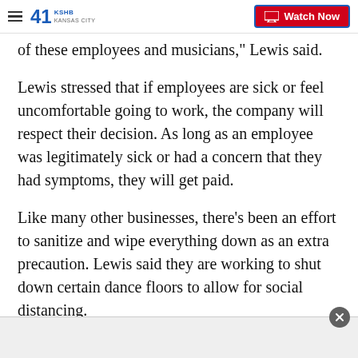KSHB 41 Kansas City — Watch Now
of these employees and musicians," Lewis said.
Lewis stressed that if employees are sick or feel uncomfortable going to work, the company will respect their decision. As long as an employee was legitimately sick or had a concern that they had symptoms, they will get paid.
Like many other businesses, there's been an effort to sanitize and wipe everything down as an extra precaution. Lewis said they are working to shut down certain dance floors to allow for social distancing.